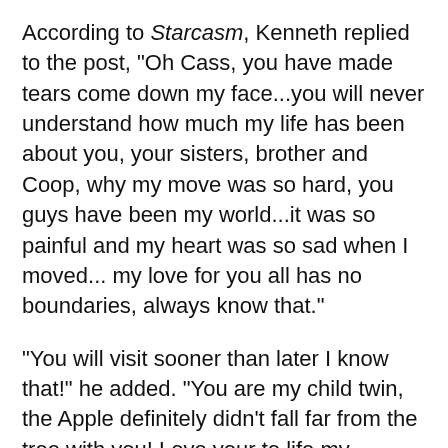According to Starcasm, Kenneth replied to the post, "Oh Cass, you have made tears come down my face...you will never understand how much my life has been about you, your sisters, brother and Coop, why my move was so hard, you guys have been my world...it was so painful and my heart was so sad when I moved... my love for you all has no boundaries, always know that."
"You will visit sooner than later I know that!" he added. "You are my child twin, the Apple definitely didn't fall far from the tree with you! Love your to life my beautiful daughter."
Kenneth revealed October 27, 2019 on Instagram he